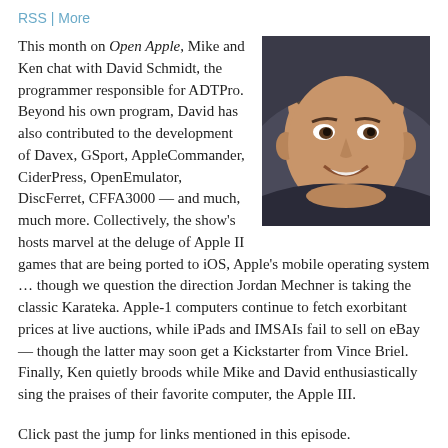RSS | More
[Figure (photo): Headshot photo of David Schmidt, a smiling middle-aged man]
This month on Open Apple, Mike and Ken chat with David Schmidt, the programmer responsible for ADTPro. Beyond his own program, David has also contributed to the development of Davex, GSport, AppleCommander, CiderPress, OpenEmulator, DiscFerret, CFFA3000 — and much, much more. Collectively, the show's hosts marvel at the deluge of Apple II games that are being ported to iOS, Apple's mobile operating system … though we question the direction Jordan Mechner is taking the classic Karateka. Apple-1 computers continue to fetch exorbitant prices at live auctions, while iPads and IMSAIs fail to sell on eBay — though the latter may soon get a Kickstarter from Vince Briel. Finally, Ken quietly broods while Mike and David enthusiastically sing the praises of their favorite computer, the Apple III.
Click past the jump for links mentioned in this episode.